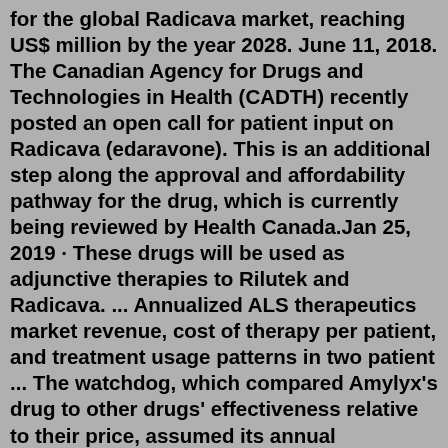for the global Radicava market, reaching US$ million by the year 2028. June 11, 2018. The Canadian Agency for Drugs and Technologies in Health (CADTH) recently posted an open call for patient input on Radicava (edaravone). This is an additional step along the approval and affordability pathway for the drug, which is currently being reviewed by Health Canada.Jan 25, 2019 · These drugs will be used as adjunctive therapies to Rilutek and Radicava. ... Annualized ALS therapeutics market revenue, cost of therapy per patient, and treatment usage patterns in two patient ... The watchdog, which compared Amylyx's drug to other drugs' effectiveness relative to their price, assumed its annual wholesale acquisition cost at $169,000. That is similar to the $171,000 for oral...Jul 17, 2020 · The yearly cost of Radicava treatment is approximately $145,000, and every treatment infusion session costs around $1,000. However, personal treatment expenses for ALS patients do vary, and depend on whether or not they have health coverage, as well as the details of their